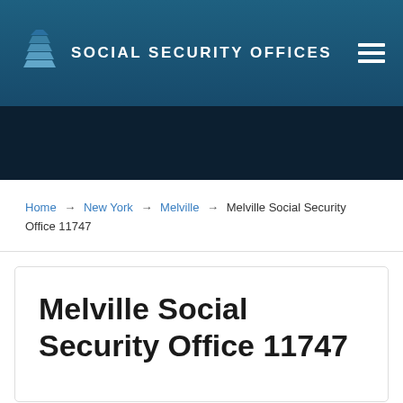SOCIAL SECURITY OFFICES
Home → New York → Melville → Melville Social Security Office 11747
Melville Social Security Office 11747